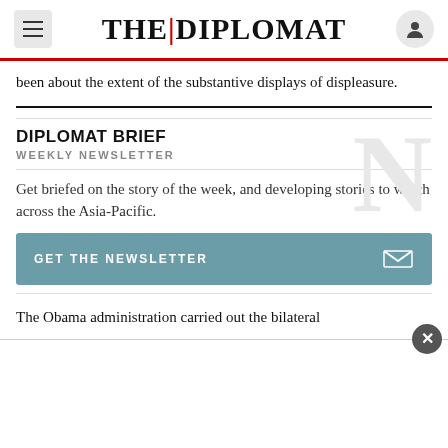THE|DIPLOMAT
been about the extent of the substantive displays of displeasure.
DIPLOMAT BRIEF
WEEKLY NEWSLETTER
Get briefed on the story of the week, and developing stories to watch across the Asia-Pacific.
GET THE NEWSLETTER
The Obama administration carried out the bilateral